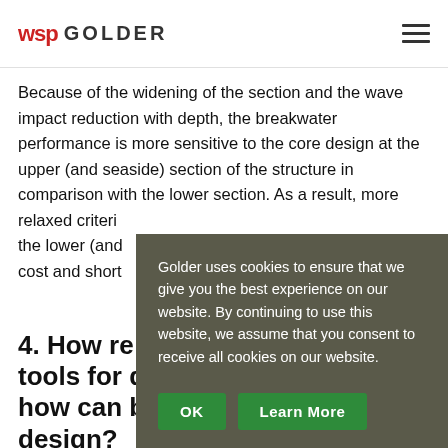WSP GOLDER
Because of the widening of the section and the wave impact reduction with depth, the breakwater performance is more sensitive to the core design at the upper (and seaside) section of the structure in comparison with the lower section. As a result, more relaxed criteria ... the lower (and ... cost and short...
4. How re... tools for d... how can b... design?
Golder uses cookies to ensure that we give you the best experience on our website. By continuing to use this website, we assume that you consent to receive all cookies on our website.